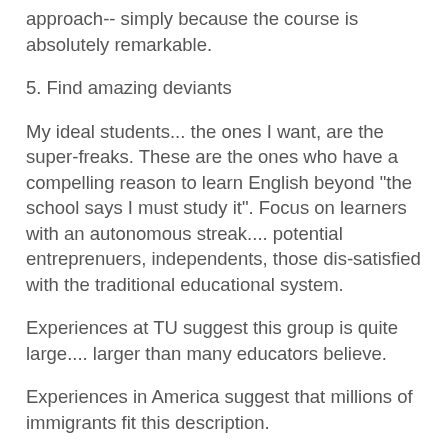approach-- simply because the course is absolutely remarkable.
5. Find amazing deviants
My ideal students... the ones I want, are the super-freaks. These are the ones who have a compelling reason to learn English beyond "the school says I must study it". Focus on learners with an autonomous streak.... potential entreprenuers, independents, those dis-satisfied with the traditional educational system.
Experiences at TU suggest this group is quite large.... larger than many educators believe.
Experiences in America suggest that millions of immigrants fit this description.
6. Never Arrive
Non-stop evolution. Never arrive at THE approach or THE method. Always innovating, always experimenting, always